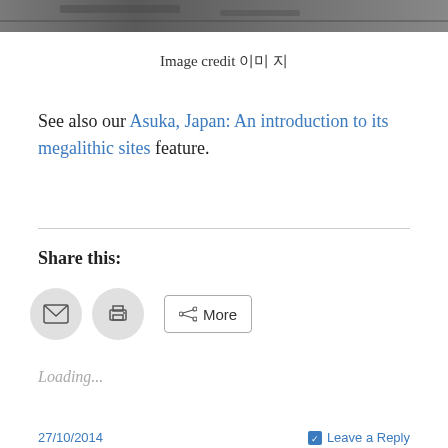[Figure (photo): Partial cropped photo of rocky/stone surface, shown at top of page]
Image credit 이미 지
See also our Asuka, Japan: An introduction to its megalithic sites feature.
Share this:
[Figure (infographic): Three share buttons: email icon (circle), print icon (circle), and More button with share icon]
Loading...
27/10/2014    Leave a Reply